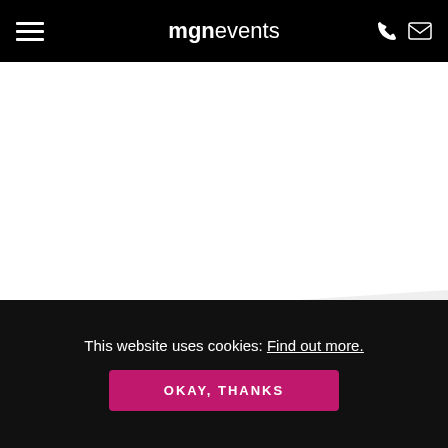mgnevents
[Figure (screenshot): White content/hero area below navigation bar, blank white space with a diagonal gray bottom edge]
We use cookies on our website to give you the most relevant experience by remembering your preferences and repeat visits. By clicking "Accept All", you consent to the use of ALL the cookies. However, you may visit "Cookie Settings" to provide a controlled
This website uses cookies: Find out more.
OKAY, THANKS